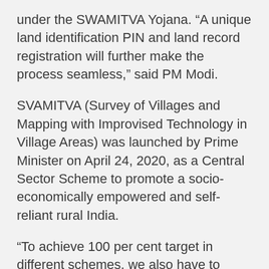under the SWAMITVA Yojana. “A unique land identification PIN and land record registration will further make the process seamless,” said PM Modi.
SVAMITVA (Survey of Villages and Mapping with Improvised Technology in Village Areas) was launched by Prime Minister on April 24, 2020, as a Central Sector Scheme to promote a socio-economically empowered and self-reliant rural India.
“To achieve 100 per cent target in different schemes, we also have to focus on new technology. So that the projects are also